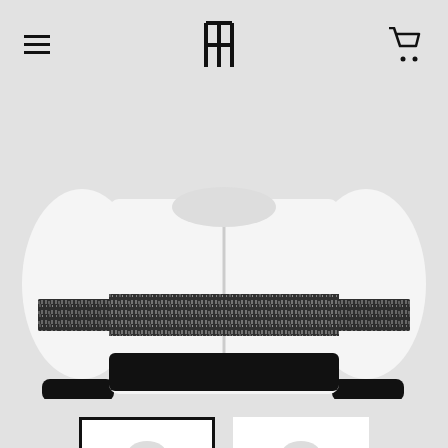[Figure (screenshot): E-commerce product page showing a white zip-up hoodie/jacket with black band featuring crowd graphic print. Page includes header with hamburger menu and cart icon, main product image, two thumbnails (front and back views), size selector set to XS, and Add to Cart button.]
SIZE   XS
+ ADD TO CART